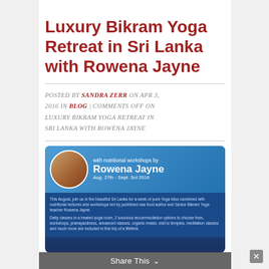Luxury Bikram Yoga Retreat in Sri Lanka with Rowena Jayne
POSTED BY SANDRA ZERR ON APR 3, 2016 IN BLOG | COMMENTS OFF ON LUXURY BIKRAM YOGA RETREAT IN SRI LANKA WITH ROWENA JAYNE
[Figure (photo): Promotional image for Luxury Bikram Yoga Retreat with Rowena Jayne, Aug. 27th - Sept. 3rd 2016, with nutritional workshops. Shows portrait of Rowena Jayne and descriptive text about Sri Lanka yoga retreat.]
Share This